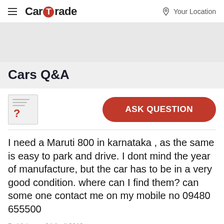CarTrade — Your Location
Cars Q&A
[Figure (illustration): Question mark icon with lines (document icon) on left; red rounded 'ASK QUESTION' button on right]
I need a Maruti 800 in karnataka , as the same is easy to park and drive. I dont mind the year of manufacture, but the car has to be in a very good condition. where can I find them? can some one contact me on my mobile no 09480 655500
By Vishoo   04 April 2010